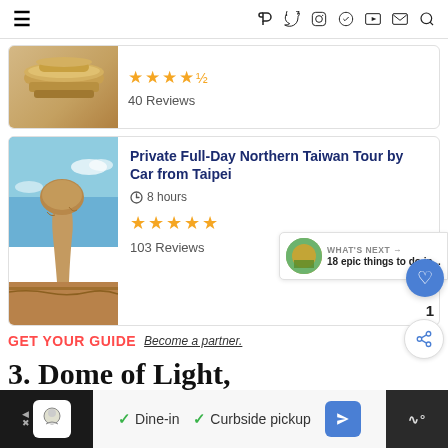Navigation bar with hamburger menu, social icons (Facebook, Twitter, Instagram, Pinterest, YouTube, Email) and search
[Figure (photo): Partial view of a card with a bamboo steamer food photo, 4.5 stars, 40 Reviews]
[Figure (photo): Rock formation (mushroom rock) against blue sky - Private Full-Day Northern Taiwan Tour by Car from Taipei listing photo]
Private Full-Day Northern Taiwan Tour by Car from Taipei
8 hours
★★★★★ 103 Reviews
GET YOUR GUIDE  Become a partner.
3. Dome of Light,
[Figure (infographic): WHAT'S NEXT → 18 epic things to do in... thumbnail widget]
[Figure (other): Advertisement bar: restaurant icon, Dine-in, Curbside pickup, navigation arrow, WiFi icon]